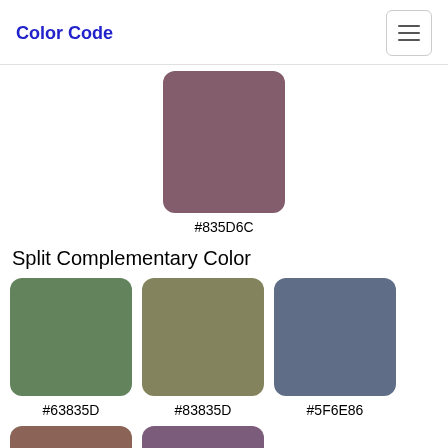Color Code
[Figure (illustration): A mauve/dusty rose color swatch square with rounded corners, labeled #835D6C]
#835D6C
Split Complementary Color
[Figure (illustration): Three color swatches in a row: green #63835D, olive #83835D, slate blue #5F6E86]
#63835D
#83835D
#5F6E86
[Figure (illustration): Two partially visible color swatches at the bottom: brownish-red and muted purple, partially cut off]